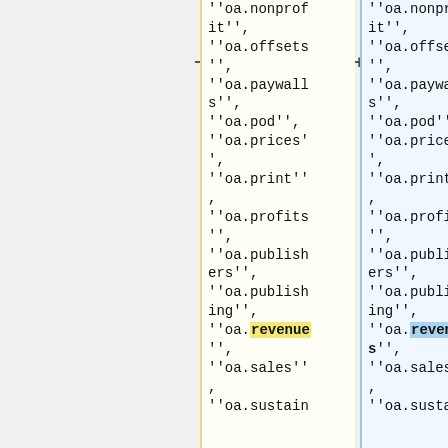''oa.nonprofit'', ''oa.offsets'', ''oa.paywalls'', ''oa.pod'', ''oa.prices'', ''oa.print'', ''oa.profits'', ''oa.publishers'', ''oa.publishing'', ''oa.revenue'', ''oa.sales'', ''oa.sustain
''oa.nonprofit'', ''oa.offsets'', ''oa.paywalls'', ''oa.pod'', ''oa.prices'', ''oa.print'', ''oa.profits'', ''oa.publishers'', ''oa.publishing'', ''oa.revenues'', ''oa.sales'', ''oa.sustain